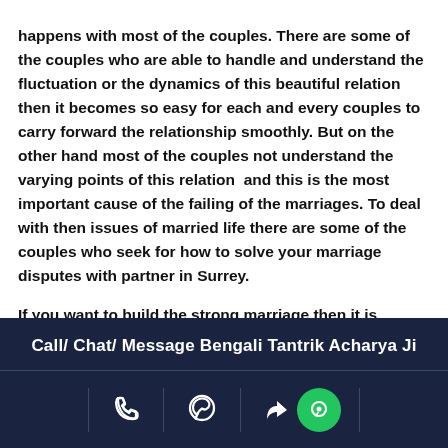happens with most of the couples. There are some of the couples who are able to handle and understand the fluctuation or the dynamics of this beautiful relation then it becomes so easy for each and every couples to carry forward the relationship smoothly. But on the other hand most of the couples not understand the varying points of this relation  and this is the most important cause of the failing of the marriages. To deal with then issues of married life there are some of the couples who seek for how to solve your marriage disputes with partner in Surrey.

If you want to build the strong marriage then it is essential that both the partners should understand the time dignity of the relation. If you are also facing any of the issues and want to get the solution to deal with the problems of
Call/ Chat/ Message Bengali Tantrik Acharya Ji